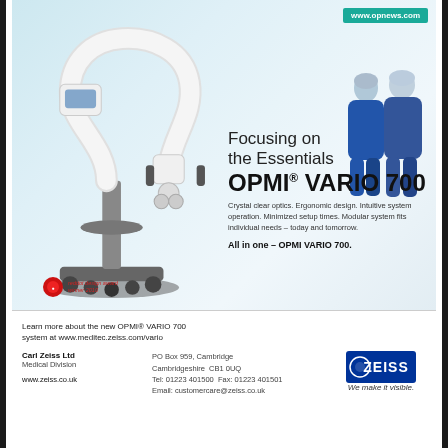[Figure (photo): Medical advertisement image showing a Carl Zeiss OPMI surgical microscope on a wheeled stand (left) and two surgeons in blue scrubs walking (right), on a light blue gradient background. Red dot design award winner 2010 badge bottom left.]
www.opnews.com
Focusing on the Essentials OPMI® VARIO 700
Crystal clear optics. Ergonomic design. Intuitive system operation. Minimized setup times. Modular system fits individual needs – today and tomorrow.
All in one – OPMI VARIO 700.
Learn more about the new OPMI® VARIO 700 system at www.meditec.zeiss.com/vario
Carl Zeiss Ltd
Medical Division

www.zeiss.co.uk
PO Box 959, Cambridge
Cambridgeshire  CB1 0UQ
Tel: 01223 401500  Fax: 01223 401501
Email: customercare@zeiss.co.uk
[Figure (logo): ZEISS logo with tagline 'We make it visible.']